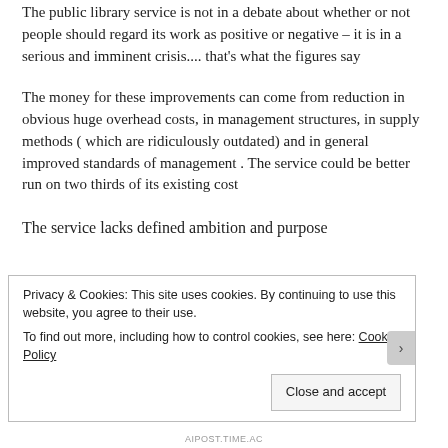The public library service is not in a debate about whether or not people should regard its work as positive or negative – it is in a serious and imminent crisis.... that's what the figures say
The money for these improvements can come from reduction in obvious huge overhead costs, in management structures, in supply methods ( which are ridiculously outdated) and in general improved standards of management . The service could be better run on two thirds of its existing cost
The service lacks defined ambition and purpose
Privacy & Cookies: This site uses cookies. By continuing to use this website, you agree to their use.
To find out more, including how to control cookies, see here: Cookie Policy
Close and accept